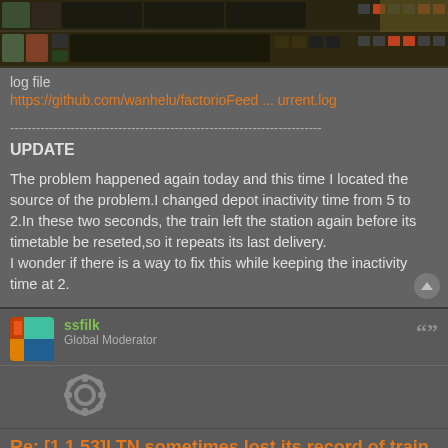[Figure (screenshot): Factorio game screenshot showing inventory/UI toolbar at top of screen]
log file
https://github.com/wanhelu/factorioFeed ... urrent.log
------------------------------------------------------------------------
UPDATE
The problem happened again today and this time I located the source of the problem.I changed depot inactivity time from 5 to 2.In these two seconds, the train left the station again before its timetable be reseted,so it repeats its last delivery.
I wonder if there is a way to fix this while keeping the inactivity time at 2.
[Figure (photo): User avatar for ssfilk - colorful square avatar]
ssfilk
Global Moderator
[Figure (illustration): Moderator badge icon - gear/cog symbol]
Re: [1.1.53]LTN sometimes lost its record of train
Fri May 27, 2022 4:33 am